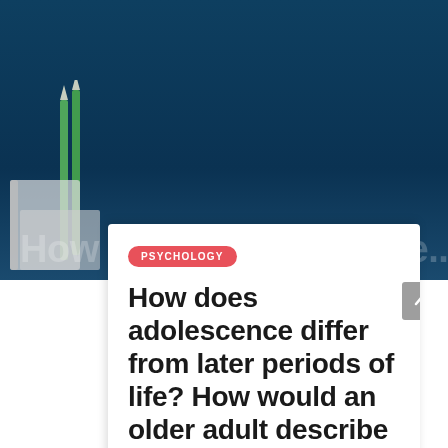[Figure (photo): Dark blue background with desk items (green pencils, books, notebook) partially visible on the left side. Faded white text of the article title is visible across the lower portion of the photo area.]
PSYCHOLOGY
How does adolescence differ from later periods of life? How would an older adult describe the adolescents of